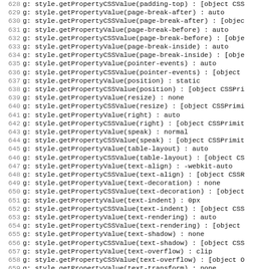628 g: style.getPropertyCSSValue(padding-top) : [object CSS
629 g: style.getPropertyValue(page-break-after) : auto
630 g: style.getPropertyCSSValue(page-break-after) : [objec
631 g: style.getPropertyValue(page-break-before) : auto
632 g: style.getPropertyCSSValue(page-break-before) : [obje
633 g: style.getPropertyValue(page-break-inside) : auto
634 g: style.getPropertyCSSValue(page-break-inside) : [obje
635 g: style.getPropertyValue(pointer-events) : auto
636 g: style.getPropertyCSSValue(pointer-events) : [object
637 g: style.getPropertyValue(position) : static
638 g: style.getPropertyCSSValue(position) : [object CSSPri
639 g: style.getPropertyValue(resize) : none
640 g: style.getPropertyCSSValue(resize) : [object CSSPrimi
641 g: style.getPropertyValue(right) : auto
642 g: style.getPropertyCSSValue(right) : [object CSSPrimit
643 g: style.getPropertyValue(speak) : normal
644 g: style.getPropertyCSSValue(speak) : [object CSSPrimit
645 g: style.getPropertyValue(table-layout) : auto
646 g: style.getPropertyCSSValue(table-layout) : [object CS
647 g: style.getPropertyValue(text-align) : -webkit-auto
648 g: style.getPropertyCSSValue(text-align) : [object CSSR
649 g: style.getPropertyValue(text-decoration) : none
650 g: style.getPropertyCSSValue(text-decoration) : [object
651 g: style.getPropertyValue(text-indent) : 0px
652 g: style.getPropertyCSSValue(text-indent) : [object CSS
653 g: style.getPropertyValue(text-rendering) : auto
654 g: style.getPropertyCSSValue(text-rendering) : [object
655 g: style.getPropertyValue(text-shadow) : none
656 g: style.getPropertyCSSValue(text-shadow) : [object CSS
657 g: style.getPropertyValue(text-overflow) : clip
658 g: style.getPropertyCSSValue(text-overflow) : [object O
659 g: style.getPropertyValue(text-transform) : none